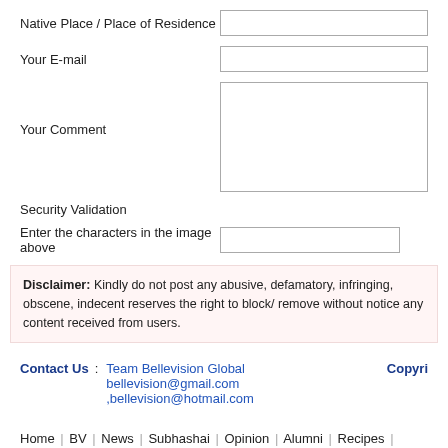Native Place / Place of Residence
Your E-mail
Your Comment
Security Validation
Enter the characters in the image above
Disclaimer: Kindly do not post any abusive, defamatory, infringing, obscene, indecent reserves the right to block/ remove without notice any content received from users.
Contact Us : Team Bellevision Global bellevision@gmail.com ,bellevision@hotmail.com Copyri
Home | BV | News | Subhashai | Opinion | Alumni | Recipes | Youth | Kids Corner | Suvaa Archives